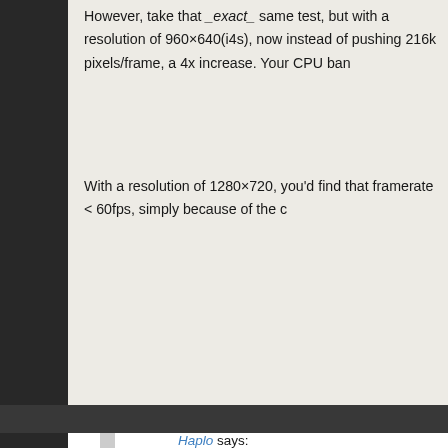However, take that _exact_ same test, but with a resolution of 960×640(i4s), now instead of pushing 216k pixels/frame, a 4x increase. Your CPU ban...
With a resolution of 1280×720, you'd find that framerate < 60fps, simply because of the c...
Haplo says:
Yes, it indeed becomes slower when you m... bitmapdata takes about 9-10ms in the brow... http://wonderfl.net/c/dlJy . I think it is proba...
However for the copying itself, the destina... time it takes to copy the bitmapdata's. Only... of them) actually counts. If you copy 1000... 2000×2000 canvas, the time will be the sa... obviously).